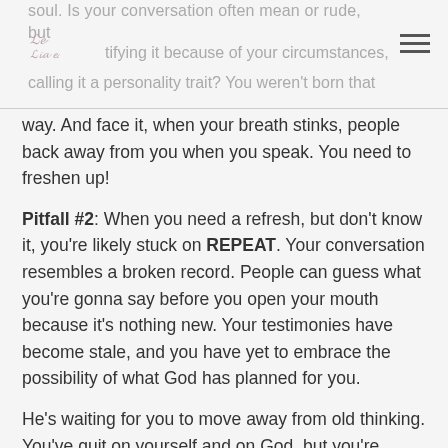soul. Is your conversation often mean or rude, but tifying it because of your circumstances, calling it a personality trait? You weren't born that
way. And face it, when your breath stinks, people back away from you when you speak. You need to freshen up!
Pitfall #2: When you need a refresh, but don't know it, you're likely stuck on REPEAT. Your conversation resembles a broken record. People can guess what you're gonna say before you open your mouth because it's nothing new. Your testimonies have become stale, and you have yet to embrace the possibility of what God has planned for you.
He's waiting for you to move away from old thinking. You've quit on yourself and on God, but you're blaming people. You let your pain paralyze you. And the biggest losers? Your friends, family, and the people